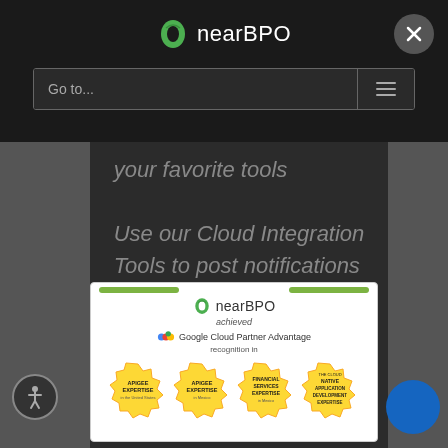[Figure (screenshot): nearBPO website navigation overlay on dark background with logo, close button, and Go to... navigation bar]
your favorite tools
Use our Cloud Integration Tools to post notifications to Slack, automatically
[Figure (screenshot): nearBPO popup modal showing Google Cloud Partner Advantage recognition with badges for Apigee Expertise, Financial Services Expertise, and Cloud Native Application Development Expertise]